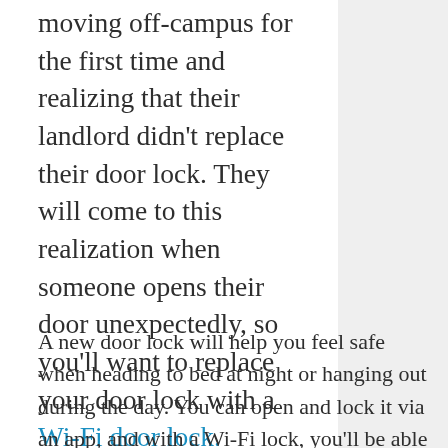moving off-campus for the first time and realizing that their landlord didn't replace their door lock. They will come to this realization when someone opens their door unexpectedly, so you'll want to replace your door lock with a Wi-Fi door lock.
A new door lock will help you feel safe when heading to bed at night or hanging out during the day. You can open and lock it via an app, and with a Wi-Fi lock, you'll be able to give friends and family access codes to come and go when they'd like to